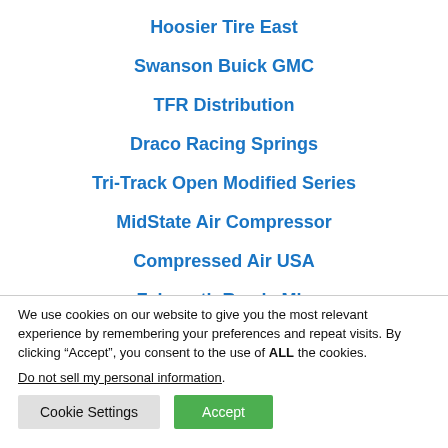Hoosier Tire East
Swanson Buick GMC
TFR Distribution
Draco Racing Springs
Tri-Track Open Modified Series
MidState Air Compressor
Compressed Air USA
Falmouth Ready Mix
We use cookies on our website to give you the most relevant experience by remembering your preferences and repeat visits. By clicking “Accept”, you consent to the use of ALL the cookies.
Do not sell my personal information.